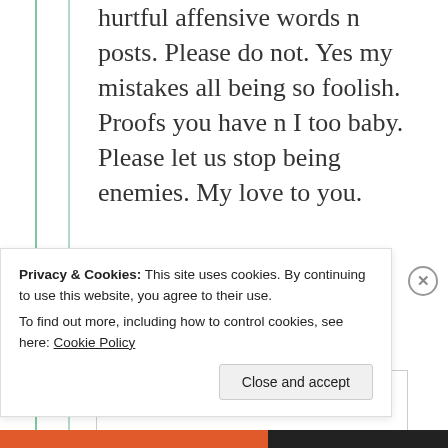hurtful affensive words n posts. Please do not. Yes my mistakes all being so foolish. Proofs you have n I too baby. Please let us stop being enemies. My love to you.
★ Like
Privacy & Cookies: This site uses cookies. By continuing to use this website, you agree to their use. To find out more, including how to control cookies, see here: Cookie Policy
Close and accept